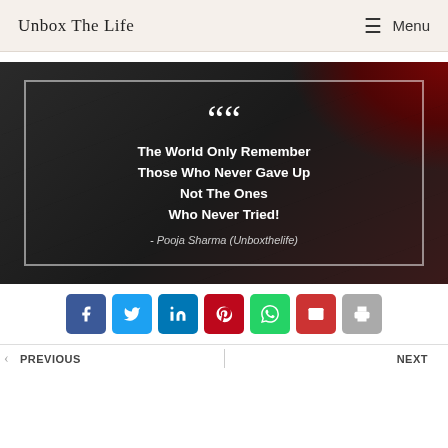Unbox The Life | Menu
[Figure (illustration): Dark background motivational quote image with white bordered box. Large white quotation marks at top. Quote text: 'The World Only Remember Those Who Never Gave Up Not The Ones Who Never Tried!' with attribution '- Pooja Sharma (Unboxthelife)' in italic. Red dark accent in top right corner.]
[Figure (infographic): Row of 7 social share buttons: Facebook (dark blue), Twitter (light blue), LinkedIn (blue), Pinterest (red), WhatsApp (green), Email (red), Print (gray)]
PREVIOUS | NEXT